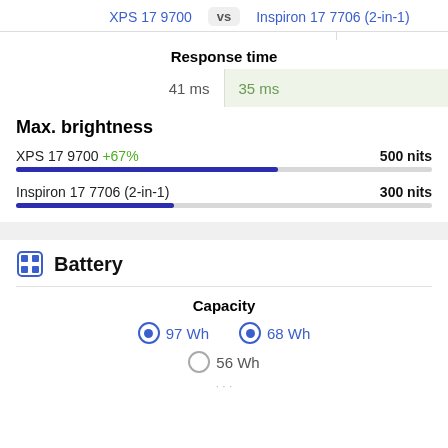XPS 17 9700 vs Inspiron 17 7706 (2-in-1)
Response time
41 ms   35 ms
Max. brightness
XPS 17 9700 +67%   500 nits
Inspiron 17 7706 (2-in-1)   300 nits
Battery
Capacity
97 Wh   68 Wh
56 Wh